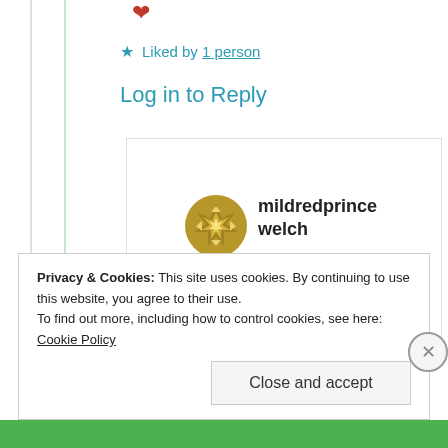❤
★ Liked by 1 person
Log in to Reply
[Figure (illustration): User avatar for mildredprincewelch — a golden/olive circular badge with a geometric star pattern]
mildredprince welch
11th Jul 2021 at 7:20 am
Privacy & Cookies: This site uses cookies. By continuing to use this website, you agree to their use. To find out more, including how to control cookies, see here: Cookie Policy
Close and accept